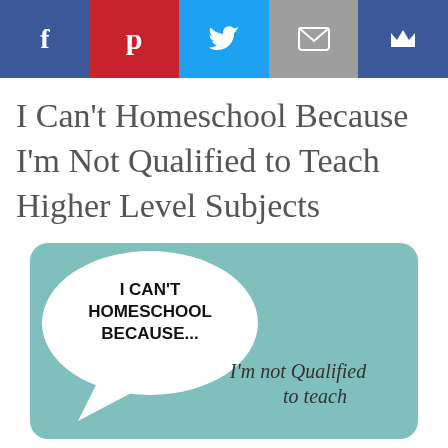[Figure (other): Social media sharing bar with Facebook, Pinterest, Twitter, Email, and Crown/bookmark icons]
I Can't Homeschool Because I'm Not Qualified to Teach Higher Level Subjects
[Figure (infographic): Teal rounded rectangle with a white speech bubble containing bold text 'I CAN'T HOMESCHOOL BECAUSE...' and italic text 'I'm not Qualified to teach' on the right side]